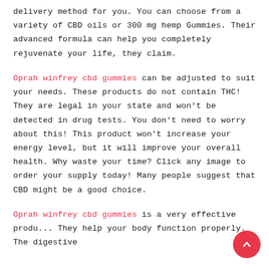delivery method for you. You can choose from a variety of CBD oils or 300 mg hemp Gummies. Their advanced formula can help you completely rejuvenate your life, they claim.
Oprah winfrey cbd gummies can be adjusted to suit your needs. These products do not contain THC! They are legal in your state and won't be detected in drug tests. You don't need to worry about this! This product won't increase your energy level, but it will improve your overall health. Why waste your time? Click any image to order your supply today! Many people suggest that CBD might be a good choice.
Oprah winfrey cbd gummies is a very effective produ... They help your body function properly. The digestive